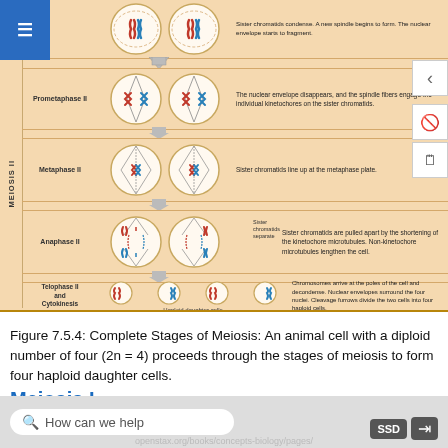[Figure (illustration): Diagram showing Meiosis II stages (Prometaphase II, Metaphase II, Anaphase II, Telophase II and Cytokinesis) with two columns of cell illustrations and descriptions. Labels include sister chromatids condensing, spindle fibers engaging kinetochores, sister chromatids lining up at metaphase plate, sister chromatids pulled apart, chromosomes arriving at poles forming four haploid cells. Haploid daughter cells labeled at bottom.]
Figure 7.5.4: Complete Stages of Meiosis: An animal cell with a diploid number of four (2n = 4) proceeds through the stages of meiosis to form four haploid daughter cells.
Meiosis I